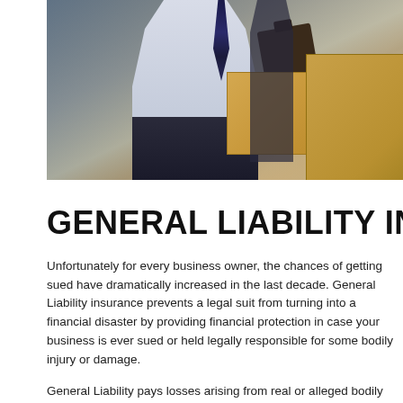[Figure (photo): Business professional in white shirt and striped tie holding a clipboard, standing near large cardboard boxes in a warehouse setting. A second person is visible in the background.]
GENERAL LIABILITY INSUR...
Unfortunately for every business owner, the chances of getting sued have dramatically increased in the last decade. General Liability insurance prevents a legal suit from turning into a financial disaster by providing financial protection in case your business is ever sued or held legally responsible for some bodily injury or damage.
General Liability pays losses arising from real or alleged bodily injury, property damage, or personal injury on your business premises or arising from your operations. The Hartford's liability programs extend far beyond those offered in typical policies, with broadened coverage and increased limits...